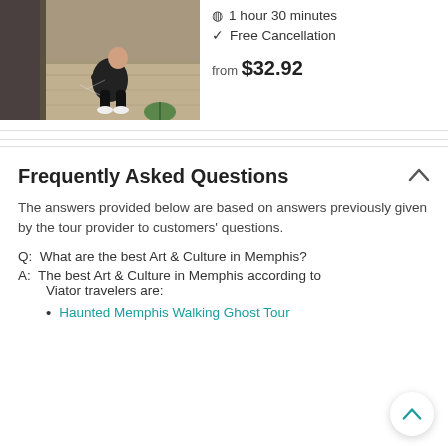[Figure (photo): Photo of a person crouching on old stone/concrete ground outdoors]
1 hour 30 minutes
Free Cancellation
from $32.92
Frequently Asked Questions
The answers provided below are based on answers previously given by the tour provider to customers' questions.
Q:  What are the best Art & Culture in Memphis?
A:  The best Art & Culture in Memphis according to Viator travelers are:
Haunted Memphis Walking Ghost Tour